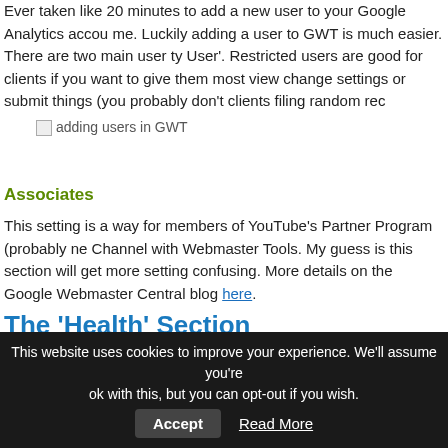Ever taken like 20 minutes to add a new user to your Google Analytics accou me. Luckily adding a user to GWT is much easier. There are two main user ty User'. Restricted users are good for clients if you want to give them most view change settings or submit things (you probably don't clients filing random rec
[Figure (screenshot): adding users in GWT - broken image placeholder]
Associates
This setting is a way for members of YouTube's Partner Program (probably ne Channel with Webmaster Tools. My guess is this section will get more setting confusing. More details on the Google Webmaster Central blog here.
The 'Health' Section
Crawl Errors
Crawl errors shows you issues Googlebot had in crawling your site. This inclu as well as a graph of the errors over time. This is a fantastic resource for spo shows up as a 404 error. You can see when Google first detected the error...
This website uses cookies to improve your experience. We'll assume you're ok with this, but you can opt-out if you wish.